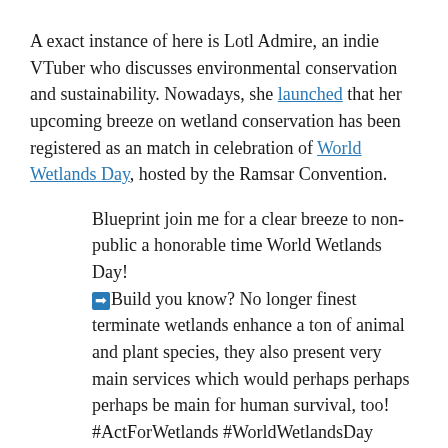A exact instance of here is Lotl Admire, an indie VTuber who discusses environmental conservation and sustainability. Nowadays, she launched that her upcoming breeze on wetland conservation has been registered as an match in celebration of World Wetlands Day, hosted by the Ramsar Convention.
Blueprint join me for a clear breeze to non-public a honorable time World Wetlands Day!
➡Build you know? No longer finest terminate wetlands enhance a ton of animal and plant species, they also present very main services which would perhaps perhaps perhaps be main for human survival, too! #ActForWetlands #WorldWetlandsDay #Vtubers https://t.co/ehDBUcKATA